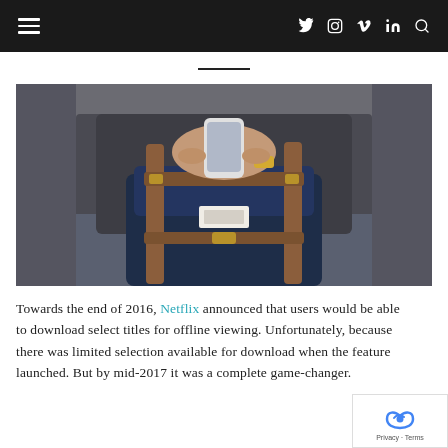≡  🐦 📷 ⓥ in 🔍
[Figure (photo): Person sitting and holding a smartphone, with a navy blue Herschel backpack on their lap, wearing a gold watch and grey hoodie.]
Towards the end of 2016, Netflix announced that users would be able to download select titles for offline viewing. Unfortunately, because there was limited selection available for download when the feature launched. But by mid-2017 it was a complete game-changer.